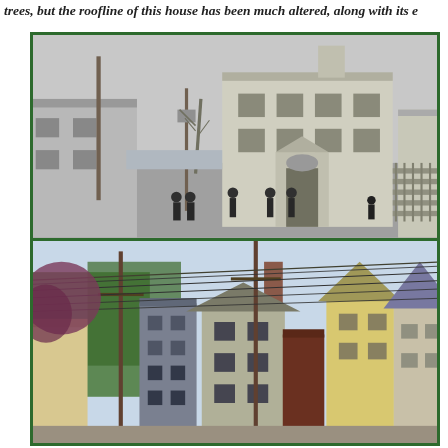trees, but the roofline of this house has been much altered, along with its e
[Figure (photo): Black and white historical photograph of a street scene showing a large multi-story colonial building with shuttered windows and a decorative pediment doorway on the right side. Several people in period dress stand in the street. Utility poles, bare trees, and a body of water are visible in the background. A wooden fence runs along the right side.]
[Figure (photo): Color photograph of the same street in a modern era. Utility poles with numerous wires, lush green trees, and several wood-sided buildings of varying colors including yellow, gray, and dark red are visible. The scene shows residential structures on both sides of the street.]